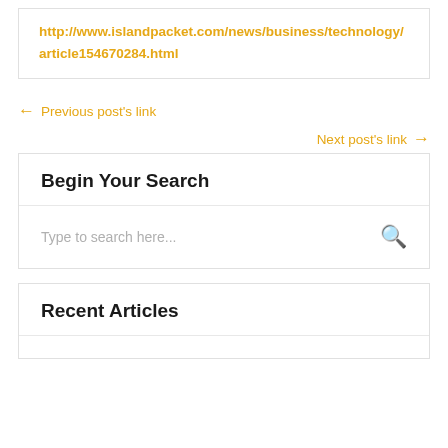http://www.islandpacket.com/news/business/technology/article154670284.html
← Previous post's link
Next post's link →
Begin Your Search
Type to search here...
Recent Articles